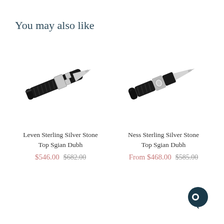You may also like
[Figure (photo): Leven Sterling Silver Stone Top Sgian Dubh — a black and silver ornamental Scottish knife/dagger with woven black handle and silver accents, shown diagonally]
[Figure (photo): Ness Sterling Silver Stone Top Sgian Dubh — a black and silver ornamental Scottish knife/dagger with woven black handle and silver stone-set mount, shown diagonally]
Leven Sterling Silver Stone Top Sgian Dubh $546.00 $682.00
Ness Sterling Silver Stone Top Sgian Dubh From $468.00 $585.00
[Figure (illustration): Dark navy blue chat/message bubble icon in bottom right corner]